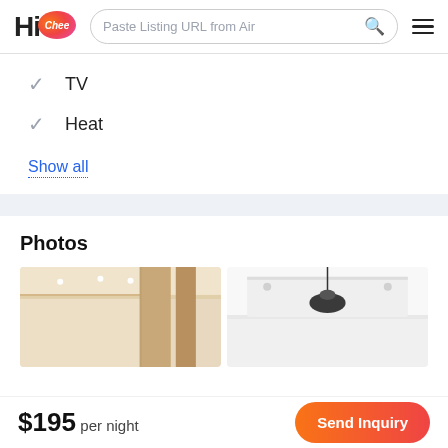HiChee — Paste Listing URL from Air
TV
Heat
Show all
Photos
[Figure (photo): Two interior room photos: left shows a room with curtains and recessed ceiling lights; right shows a ceiling with a decorative pendant lamp and recessed lights.]
$195 per night
Send Inquiry